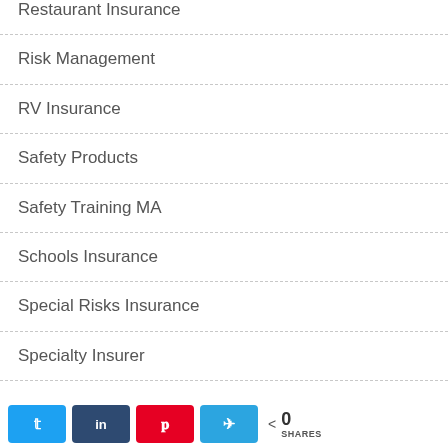Restaurant Insurance
Risk Management
RV Insurance
Safety Products
Safety Training MA
Schools Insurance
Special Risks Insurance
Specialty Insurer